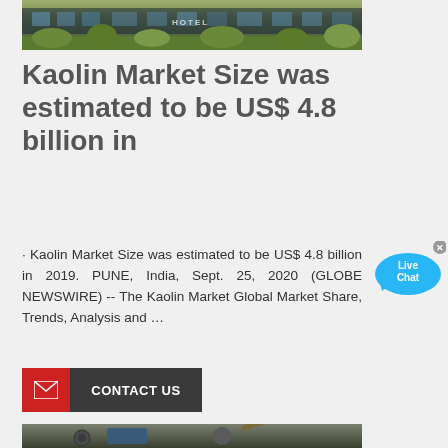[Figure (photo): Photo of a building exterior with greenery/plants, appears to be a commercial or hotel building]
Kaolin Market Size was estimated to be US$ 4.8 billion in
· Kaolin Market Size was estimated to be US$ 4.8 billion in 2019. PUNE, India, Sept. 25, 2020 (GLOBE NEWSWIRE) -- The Kaolin Market Global Market Share, Trends, Analysis and …
[Figure (other): Live Chat button/widget in blue speech bubble with X close button]
[Figure (photo): Industrial mining/crushing equipment and machinery at a quarry or mining site]